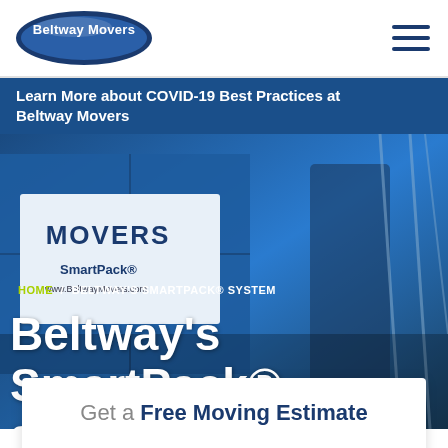[Figure (logo): Beltway Movers logo with dark blue oval and white text]
Learn More about COVID-19 Best Practices at Beltway Movers
[Figure (photo): Hero image showing a Beltway Movers truck with SmartPack branding and a worker in mask]
HOME / BELTWAY'S SMARTPACK® SYSTEM
Beltway's SmartPack® system
Get a Free Moving Estimate
Moving From
Moving To